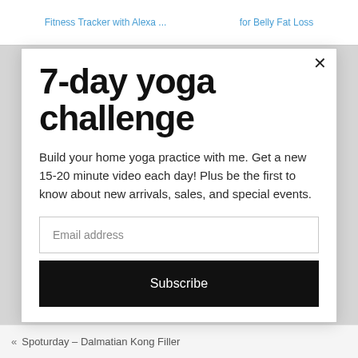Fitness Tracker with Alexa ...   for Belly Fat Loss
7-day yoga challenge
Build your home yoga practice with me. Get a new 15-20 minute video each day! Plus be the first to know about new arrivals, sales, and special events.
Email address
Subscribe
« Spoturday – Dalmatian Kong Filler